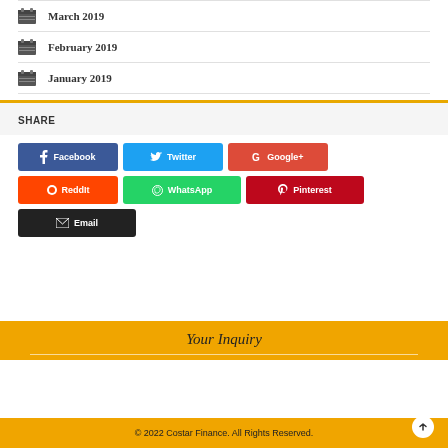March 2019
February 2019
January 2019
SHARE
Facebook
Twitter
Google+
ReddIt
WhatsApp
Pinterest
Email
Your Inquiry
© 2022 Costar Finance. All Rights Reserved.